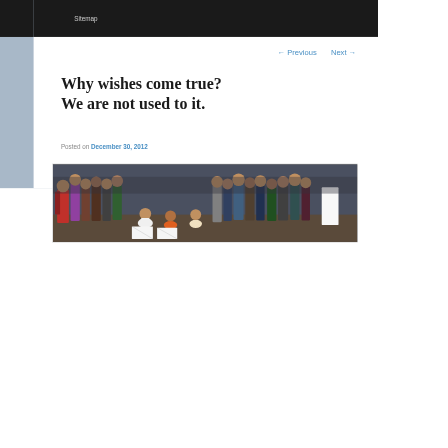Sitemap
← Previous   Next →
Why wishes come true? We are not used to it.
Posted on December 30, 2012
[Figure (photo): Crowd of people gathered outdoors, some sitting on the ground holding signs, others standing, appears to be a public demonstration or vigil]